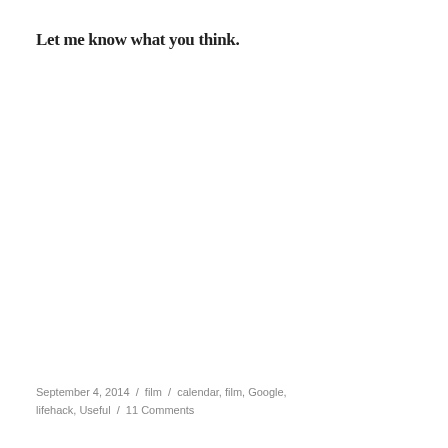Let me know what you think.
September 4, 2014 / film / calendar, film, Google, lifehack, Useful / 11 Comments